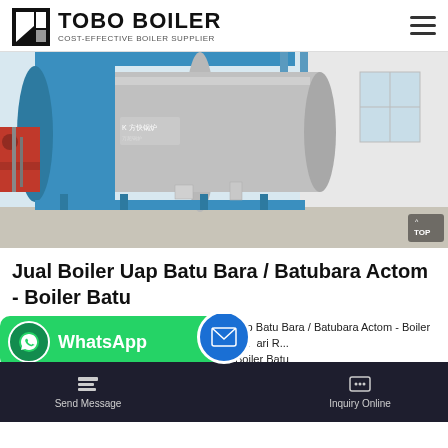TOBO BOILER — COST-EFFECTIVE BOILER SUPPLIER
[Figure (photo): Industrial boiler equipment in a factory setting — large cylindrical steam boilers in silver/grey with blue structural framing, red burner assembly on left, Chinese branding visible]
Jual Boiler Uap Batu Bara / Batubara Actom - Boiler Batu
Jual Boiler Uap Batu Bara / Batubara Actom - Boiler Batu 1 hari R... Boiler Batu
WhatsApp
Send Message   Inquiry Online